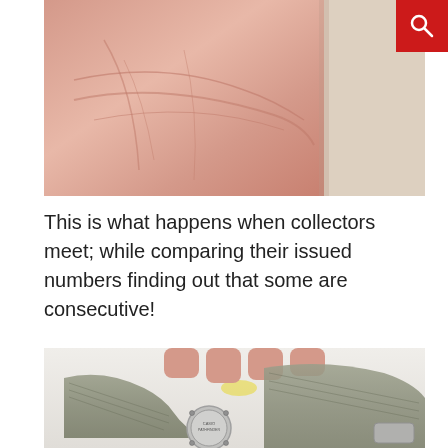[Figure (photo): Close-up photo of a human palm, pink skin with visible lines and creases, against a light background with another surface visible at right]
This is what happens when collectors meet; while comparing their issued numbers finding out that some are consecutive!
[Figure (photo): Photo of military watch backs and olive/grey NATO nylon watch straps laid out on a white surface, with fingers holding a strap, showing engraved case backs]